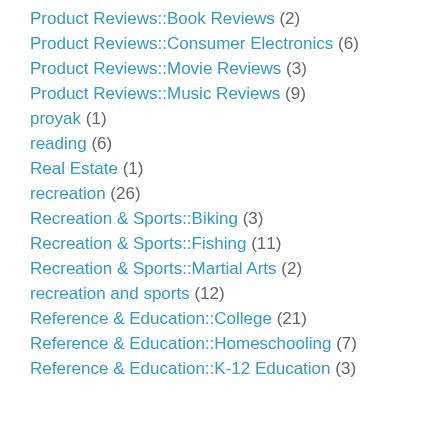Product Reviews::Book Reviews (2)
Product Reviews::Consumer Electronics (6)
Product Reviews::Movie Reviews (3)
Product Reviews::Music Reviews (9)
proyak (1)
reading (6)
Real Estate (1)
recreation (26)
Recreation & Sports::Biking (3)
Recreation & Sports::Fishing (11)
Recreation & Sports::Martial Arts (2)
recreation and sports (12)
Reference & Education::College (21)
Reference & Education::Homeschooling (7)
Reference & Education::K-12 Education (3)